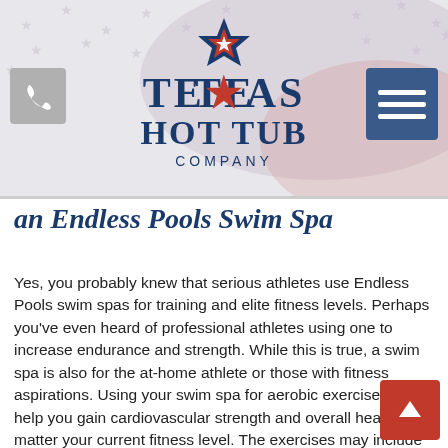[Figure (logo): Texas Hot Tub Company logo with star icon, displayed in header with American flag background]
an Endless Pools Swim Spa
Yes, you probably knew that serious athletes use Endless Pools swim spas for training and elite fitness levels. Perhaps you've even heard of professional athletes using one to increase endurance and strength. While this is true, a swim spa is also for the at-home athlete or those with fitness aspirations. Using your swim spa for aerobic exercise will help you gain cardiovascular strength and overall health no matter your current fitness level. The exercises may include swimming, biking, even running with an adjustable water current. Additionally, regularly using the